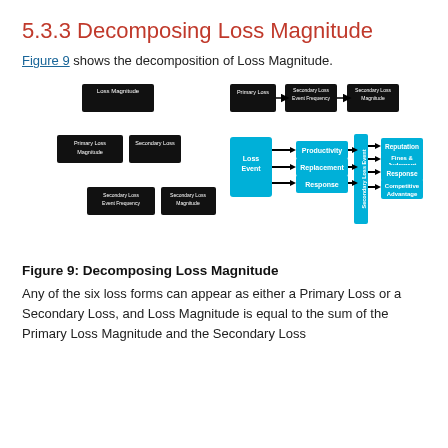5.3.3 Decomposing Loss Magnitude
Figure 9 shows the decomposition of Loss Magnitude.
[Figure (flowchart): Flowchart decomposing Loss Magnitude into Primary Loss Magnitude and Secondary Loss, then Secondary Loss into Secondary Loss Event Frequency and Secondary Loss Magnitude. Right side shows Loss Event flowing to Productivity, Replacement, Response, then to Secondary Loss Event which branches to Reputation, Fines & Judgment, Response, Competitive Advantage. Top shows Primary Loss → Secondary Loss Event Frequency → Secondary Loss Magnitude.]
Figure 9: Decomposing Loss Magnitude
Any of the six loss forms can appear as either a Primary Loss or a Secondary Loss, and Loss Magnitude is equal to the sum of the Primary Loss Magnitude and the Secondary Loss